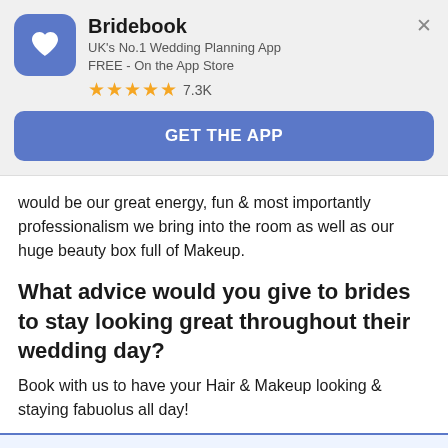[Figure (logo): Bridebook app promotional banner with app icon (blue rounded square with heart logo), app name, subtitle, star rating, and GET THE APP button]
Bridebook
UK's No.1 Wedding Planning App
FREE - On the App Store
★★★★★ 7.3K
GET THE APP
would be our great energy, fun & most importantly professionalism we bring into the room as well as our huge beauty box full of Makeup.
What advice would you give to brides to stay looking great throughout their wedding day?
Book with us to have your Hair & Makeup looking & staying fabuolus all day!